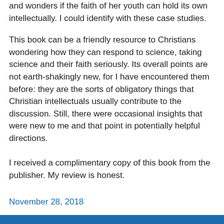and wonders if the faith of her youth can hold its own intellectually. I could identify with these case studies.
This book can be a friendly resource to Christians wondering how they can respond to science, taking science and their faith seriously. Its overall points are not earth-shakingly new, for I have encountered them before: they are the sorts of obligatory things that Christian intellectuals usually contribute to the discussion. Still, there were occasional insights that were new to me and that point in potentially helpful directions.
I received a complimentary copy of this book from the publisher. My review is honest.
November 28, 2018